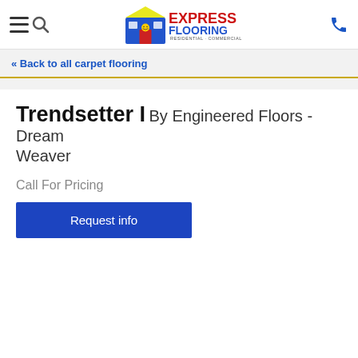Express Flooring - Residential Commercial
« Back to all carpet flooring
Trendsetter I By Engineered Floors - Dream Weaver
Call For Pricing
Request info